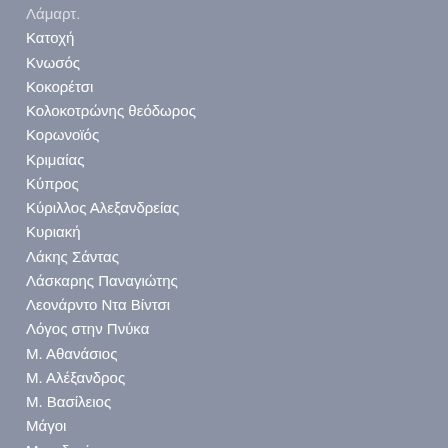Λάμαρτ.
Κατοχή
Κνωσός
Κοκορέτσι
Κολοκοτρώνης θεόδωρος
Κορωνοϊός
Κριμαίας
Κύπρος
Κύριλλος Αλεξανδρείας
Κυριακή
Λάκης Σάντας
Λάσκαρης Παναγιώτης
Λεονάρντο Ντα Βίντσι
Λόγος στην Πνύκα
Μ. Αθανάσιος
Μ. Αλέξανδρος
Μ. Βασίλειος
Μάγοι
Μακεδονία
Μακεδονικός Αγώνας
Μανώλης Γλέζος
Μαριάννα Ευθυμίου-Γλάρου
Μαρκούλης Παντελής
Μελίνα Μερκούρη